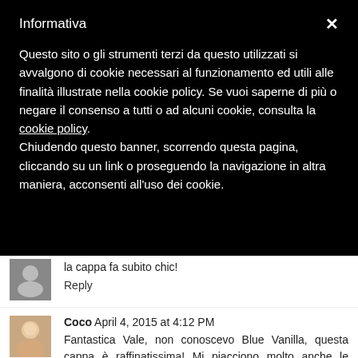Informativa
Questo sito o gli strumenti terzi da questo utilizzati si avvalgono di cookie necessari al funzionamento ed utili alle finalità illustrate nella cookie policy. Se vuoi saperne di più o negare il consenso a tutti o ad alcuni cookie, consulta la cookie policy.
Chiudendo questo banner, scorrendo questa pagina, cliccando su un link o proseguendo la navigazione in altra maniera, acconsenti all'uso dei cookie.
la cappa fa subito chic!
Reply
Coco  April 4, 2015 at 4:12 PM
Fantastica Vale, non conoscevo Blue Vanilla, questa cappa è raffinatissima! Mi piacciono molto anche le scarpe e la felpa I woke up like this, that is gorgeous! Buone vacanze tesoro!! Baci